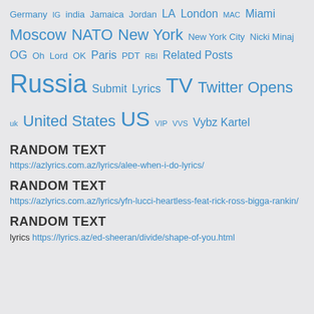Germany IG india Jamaica Jordan LA London MAC Miami Moscow NATO New York New York City Nicki Minaj OG Oh Lord OK Paris PDT RBI Related Posts Russia Submit Lyrics TV Twitter Opens uk United States US VIP VVS Vybz Kartel
RANDOM TEXT
https://azlyrics.com.az/lyrics/alee-when-i-do-lyrics/
RANDOM TEXT
https://azlyrics.com.az/lyrics/yfn-lucci-heartless-feat-rick-ross-bigga-rankin/
RANDOM TEXT
lyrics https://lyrics.az/ed-sheeran/divide/shape-of-you.html